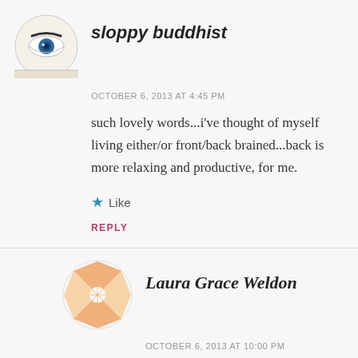[Figure (illustration): Avatar image for sloppy buddhist — a stylized eye/face sketch in a circle]
sloppy buddhist
OCTOBER 6, 2013 AT 4:45 PM
such lovely words...i've thought of myself living either/or front/back brained...back is more relaxing and productive, for me.
★ Like
REPLY
[Figure (illustration): Avatar image for Laura Grace Weldon — a geometric pinwheel/flower pattern in peach/orange tones]
Laura Grace Weldon
OCTOBER 6, 2013 AT 10:00 PM
What a great name for a site, Sloppy